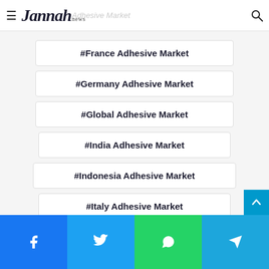Jannah news — Adhesive Market
#France Adhesive Market
#Germany Adhesive Market
#Global Adhesive Market
#India Adhesive Market
#Indonesia Adhesive Market
#Italy Adhesive Market
#Japan Adhesive Market
#Malaysia Adhesive Market
Facebook | Twitter | WhatsApp | Telegram